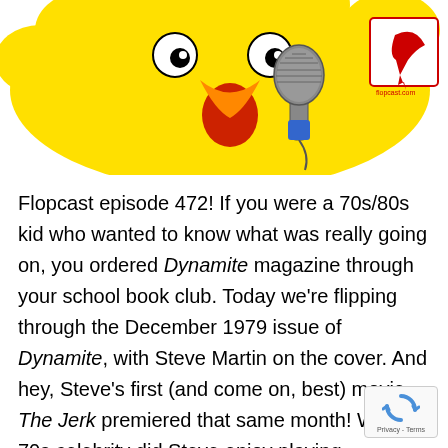[Figure (illustration): Top portion of a yellow cartoon bird character holding a microphone, with a red logo/badge in the upper right corner showing a quill pen icon and text 'flopcast.com']
Flopcast episode 472! If you were a 70s/80s kid who wanted to know what was really going on, you ordered Dynamite magazine through your school book club. Today we're flipping through the December 1979 issue of Dynamite, with Steve Martin on the cover. And hey, Steve's first (and come on, best) movie The Jerk premiered that same month! Which 70s celebrity did Steve enjoy playing horseshoes with? The answer will shock you. Also in this issue of Dynamite: world record grape-catching; disgusting popcorn beverages; Hollywood gossip about Superman, Miss Piggy, Kiss, and Erik Estrada; disco vs. rock; how to levitate with Magic Wanda; an